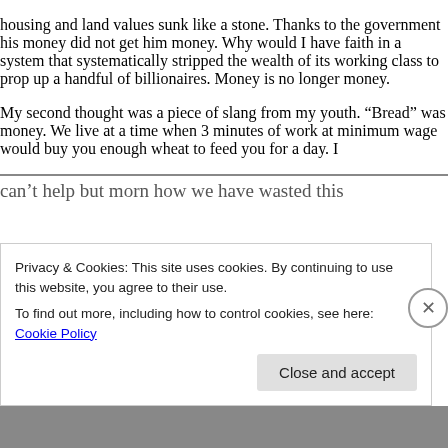housing and land values sunk like a stone. Thanks to the government his money did not get him money. Why would I have faith in a system that systematically stripped the wealth of its working class to prop up a handful of billionaires. Money is no longer money.
My second thought was a piece of slang from my youth. “Bread” was money. We live at a time when 3 minutes of work at minimum wage would buy you enough wheat to feed you for a day. I can't help but morn how we have wasted this
Privacy & Cookies: This site uses cookies. By continuing to use this website, you agree to their use.
To find out more, including how to control cookies, see here: Cookie Policy
Close and accept